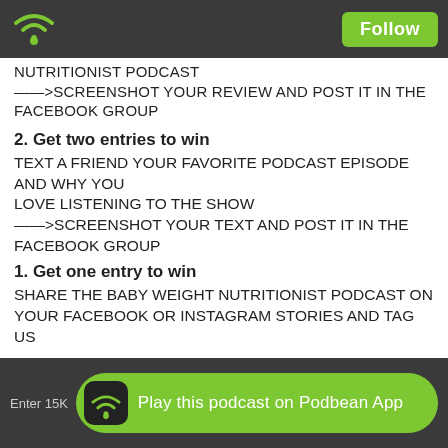Follow
NUTRITIONIST PODCAST
——>SCREENSHOT YOUR REVIEW AND POST IT IN THE FACEBOOK GROUP
2. Get two entries to win
TEXT A FRIEND YOUR FAVORITE PODCAST EPISODE AND WHY YOU
LOVE LISTENING TO THE SHOW
——>SCREENSHOT YOUR TEXT AND POST IT IN THE FACEBOOK GROUP
1. Get one entry to win
SHARE THE BABY WEIGHT NUTRITIONIST PODCAST ON YOUR FACEBOOK OR INSTAGRAM STORIES AND TAG US
ONE winner announced inside our free Facebook Community at 4:30 pm EST on Friday, 8/12. Will it be you?!? Can't wait to see your entries!
Enter 15K   Play this podcast on Podbean App